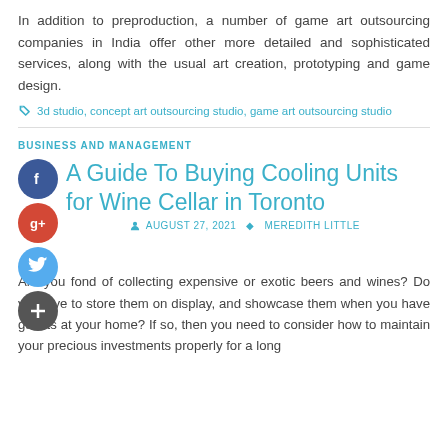In addition to preproduction, a number of game art outsourcing companies in India offer other more detailed and sophisticated services, along with the usual art creation, prototyping and game design.
3d studio, concept art outsourcing studio, game art outsourcing studio
BUSINESS AND MANAGEMENT
A Guide To Buying Cooling Units for Wine Cellar in Toronto
AUGUST 27, 2021   MEREDITH LITTLE
Are you fond of collecting expensive or exotic beers and wines? Do you love to store them on display, and showcase them when you have guests at your home? If so, then you need to consider how to maintain your precious investments properly for a long